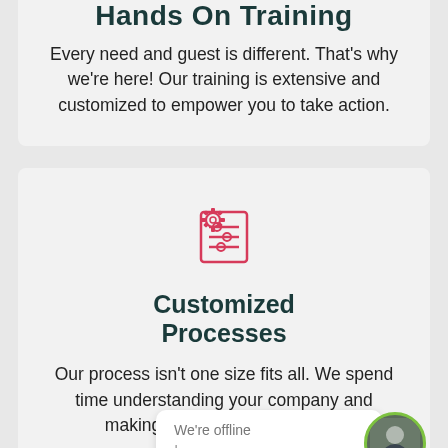Hands On Training
Every need and guest is different. That's why we're here! Our training is extensive and customized to empower you to take action.
[Figure (illustration): Pink/red icon of a gear overlapping a document with sliders/controls]
Customized Processes
Our process isn't one size fits all. We spend time understanding your company and making key suggestions in imp...
We're offline
Leave a message